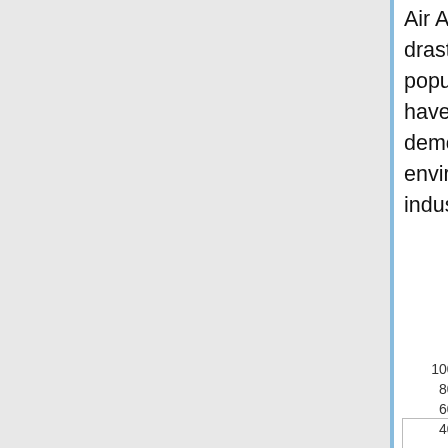Air Act in 1970 and since then emissions in the U.S. have been drastically reduced. As a matter of fact despite increases in the population in the last 35 years the amount of pollutants emitted have decreased by almost 70% (EPA). More importantly this demonstrates that reasonable efforts can be put towards environmental protection without causing too much harm to industry.
[Figure (line-chart): Line chart partially visible showing comparison of greenhouse gas or growth metrics over time, with y-axis showing percentage values from 40% to 240%, multiple colored lines (light blue, orange, red, green, blue), and a vertical dashed line.]